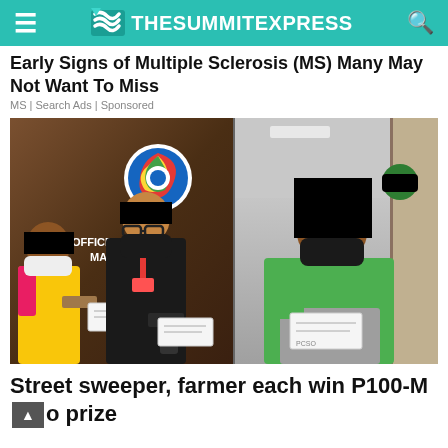TheSummitExpress
Early Signs of Multiple Sclerosis (MS) Many May Not Want To Miss
MS | Search Ads | Sponsored
[Figure (photo): Two lottery winners with blacked-out faces holding checks at the PCSO Office of the General Manager, with a PCSO official in the center. Right side shows another winner also with blacked-out face holding a check.]
Street sweeper, farmer each win P100-M lotto prize